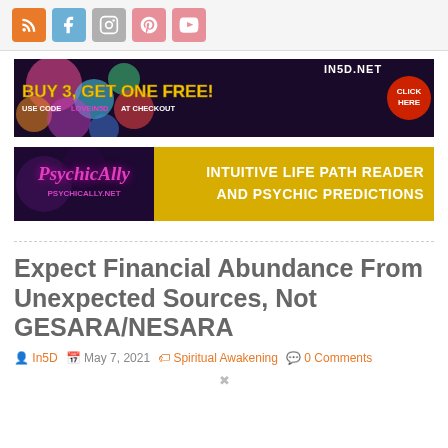Social media icons: RSS, Facebook, Instagram, Pinterest, YouTube
[Figure (infographic): IN5D.NET banner ad: BUY 3, GET ONE FREE! USE CODE LOVEIN5D AT CHECKOUT with CLICK HERE button. Colorful tie-dye background.]
[Figure (infographic): PsychicAlly banner ad: PsychicAlly logo with PSYCHICALLY.NET, INTUITIVE LIFE PATH READER AND PSYCHIC PREDICTIONS text on yellow-gold background.]
Expect Financial Abundance From Unexpected Sources, Not GESARA/NESARA
In5D   May 7, 2021   Spiritual Awakening   0 Comments